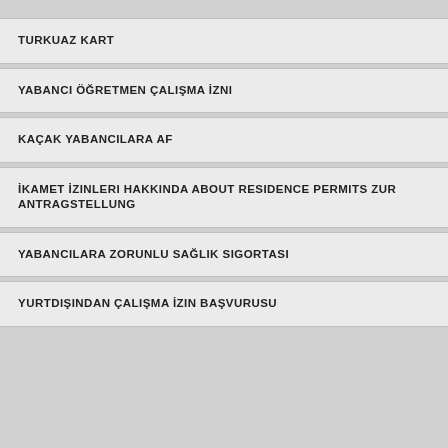TURKUAZ KART
YABANCI ÖĞRETMEN ÇALIŞMA İZNI
KAÇAK YABANCILARA AF
İKAMET İZINLERI HAKKINDA ABOUT RESIDENCE PERMITS ZUR ANTRAGSTELLUNG
YABANCILARA ZORUNLU SAĞLIK SIGORTASI
YURTDIŞINDAN ÇALIŞMA İZIN BAŞVURUSU